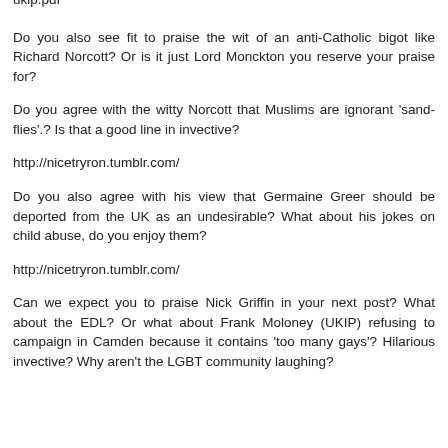ukip.pdf
Do you also see fit to praise the wit of an anti-Catholic bigot like Richard Norcott? Or is it just Lord Monckton you reserve your praise for?
Do you agree with the witty Norcott that Muslims are ignorant 'sand-flies'.? Is that a good line in invective?
http://nicetryron.tumblr.com/
Do you also agree with his view that Germaine Greer should be deported from the UK as an undesirable? What about his jokes on child abuse, do you enjoy them?
http://nicetryron.tumblr.com/
Can we expect you to praise Nick Griffin in your next post? What about the EDL? Or what about Frank Moloney (UKIP) refusing to campaign in Camden because it contains 'too many gays'? Hilarious invective? Why aren't the LGBT community laughing?